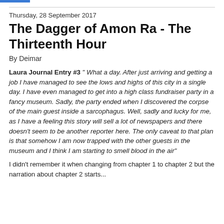Thursday, 28 September 2017
The Dagger of Amon Ra - The Thirteenth Hour
By Deimar
Laura Journal Entry #3 " What a day. After just arriving and getting a job I have managed to see the lows and highs of this city in a single day. I have even managed to get into a high class fundraiser party in a fancy museum. Sadly, the party ended when I discovered the corpse of the main guest inside a sarcophagus. Well, sadly and lucky for me, as I have a feeling this story will sell a lot of newspapers and there doesn’t seem to be another reporter here. The only caveat to that plan is that somehow I am now trapped with the other guests in the museum and I think I am starting to smell blood in the air"
I didn’t remember it when changing from chapter 1 to chapter 2 but the narration about chapter 2 starts...